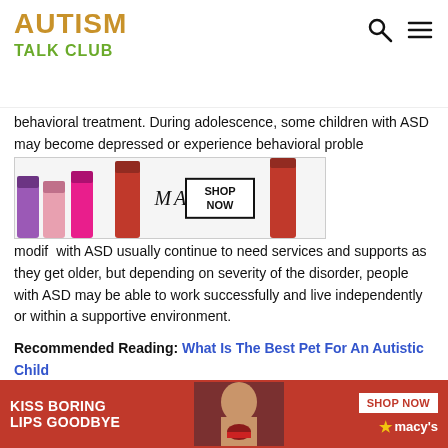AUTISM TALK CLUB
behavioral treatment. During adolescence, some children with ASD may become depressed or experience behavioral problems, and these behavioral problems may be modified with ASD usually continue to need services and supports as they get older, but depending on severity of the disorder, people with ASD may be able to work successfully and live independently or within a supportive environment.
[Figure (photo): MAC cosmetics advertisement showing lipsticks with SHOP NOW button]
Recommended Reading: What Is The Best Pet For An Autistic Child
Who Tells/where To Tell
[Figure (photo): Macy's advertisement: KISS BORING LIPS GOODBYE with SHOP NOW button and Macy's logo and star, showing woman's face]
Certai your